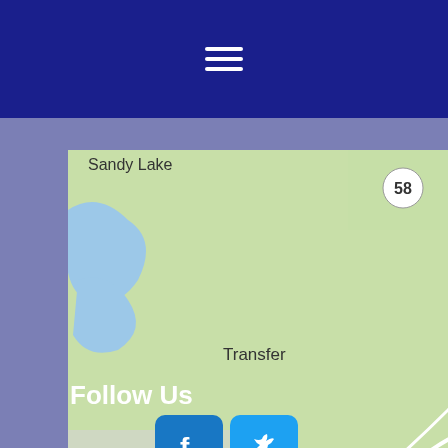[Figure (map): Road map showing western Pennsylvania region with cities including Transfer, Fredonia, Sandy Lake, Jackson Center, Hermitage, Mercer, West Middlesex, Springfield Falls, Grove City, Amsterdam, Harrisville, New Wilmington, Volant, New Pulaski, Barkeyville. Highways I-80, I-79, I-376, Route 19, Route 58, Route 173, Route 8 visible.]
Follow Us
[Figure (logo): Facebook icon button (dark blue rounded square with Facebook 'f' logo)]
[Figure (logo): Twitter icon button (light blue rounded square with Twitter bird logo)]